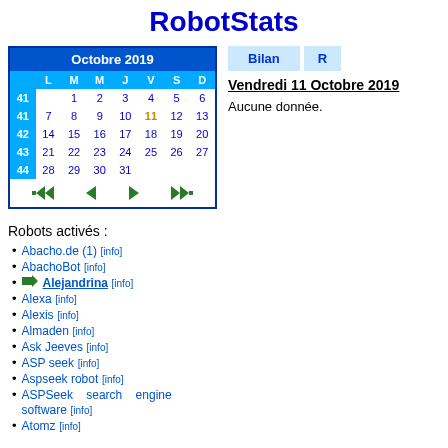RobotStats
[Figure (other): October 2019 calendar with week numbers 41-44, days L M M J V S D, date 11 highlighted in orange, navigation arrows at bottom]
[Figure (other): Bilan tab button and another tab button (partially visible)]
Vendredi 11 Octobre 2019
Aucune donnée.
Robots activés :
Abacho.de (1) [info]
AbachoBot [info]
Alejandrina [info]
Alexa [info]
Alexis [info]
Almaden [info]
Ask Jeeves [info]
ASP seek [info]
Aspseek robot [info]
ASPSeek search engine software [info]
Atomz [info]